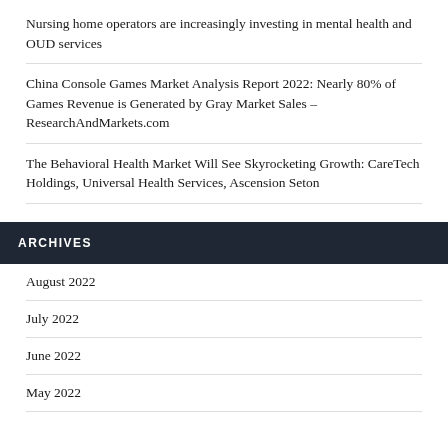Nursing home operators are increasingly investing in mental health and OUD services
China Console Games Market Analysis Report 2022: Nearly 80% of Games Revenue is Generated by Gray Market Sales – ResearchAndMarkets.com
The Behavioral Health Market Will See Skyrocketing Growth: CareTech Holdings, Universal Health Services, Ascension Seton
ARCHIVES
August 2022
July 2022
June 2022
May 2022